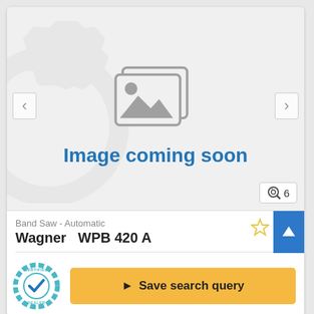[Figure (screenshot): Image placeholder with gear background and stacked photo icon, labeled 'Image coming soon' in blue bold text. Navigation arrows left and right. Photo count badge showing magnify icon and 6.]
Band Saw - Automatic
Wagner  WPB 420 A
[Figure (logo): Certified Dealer badge — teal gear outline with checkmark inside circle]
Save search query